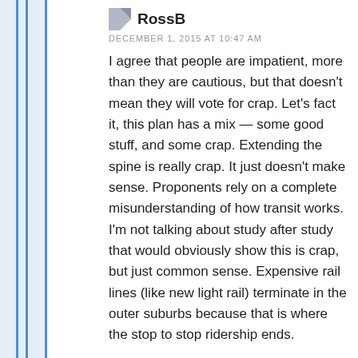RossB
DECEMBER 1, 2015 AT 10:47 AM
I agree that people are impatient, more than they are cautious, but that doesn't mean they will vote for crap. Let's fact it, this plan has a mix — some good stuff, and some crap. Extending the spine is really crap. It just doesn't make sense. Proponents rely on a complete misunderstanding of how transit works. I'm not talking about study after study that would obviously show this is crap, but just common sense. Expensive rail lines (like new light rail) terminate in the outer suburbs because that is where the stop to stop ridership ends.